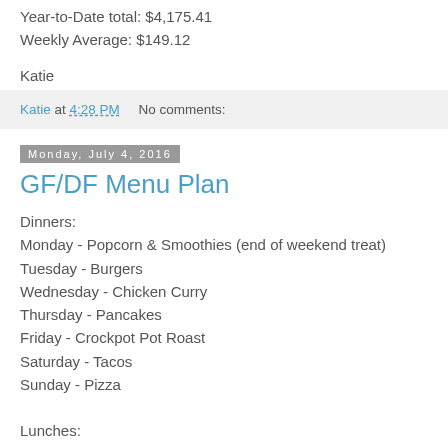Year-to-Date total: $4,175.41
Weekly Average: $149.12
Katie
Katie at 4:28 PM    No comments:
Monday, July 4, 2016
GF/DF Menu Plan
Dinners:
Monday - Popcorn & Smoothies (end of weekend treat)
Tuesday - Burgers
Wednesday - Chicken Curry
Thursday - Pancakes
Friday - Crockpot Pot Roast
Saturday - Tacos
Sunday - Pizza
Lunches: